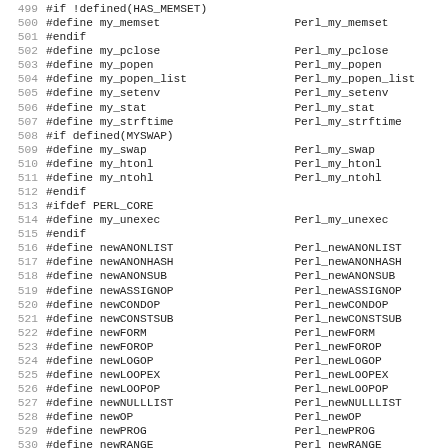499 #if !defined(HAS_MEMSET)
500 #define my_memset                    Perl_my_memset
501 #endif
502 #define my_pclose                   Perl_my_pclose
503 #define my_popen                    Perl_my_popen
504 #define my_popen_list               Perl_my_popen_list
505 #define my_setenv                   Perl_my_setenv
506 #define my_stat                     Perl_my_stat
507 #define my_strftime                 Perl_my_strftime
508 #if defined(MYSWAP)
509 #define my_swap                     Perl_my_swap
510 #define my_htonl                    Perl_my_htonl
511 #define my_ntohl                    Perl_my_ntohl
512 #endif
513 #ifdef PERL_CORE
514 #define my_unexec                   Perl_my_unexec
515 #endif
516 #define newANONLIST                 Perl_newANONLIST
517 #define newANONHASH                 Perl_newANONHASH
518 #define newANONSUB                  Perl_newANONSUB
519 #define newASSIGNOP                 Perl_newASSIGNOP
520 #define newCONDOP                   Perl_newCONDOP
521 #define newCONSTSUB                 Perl_newCONSTSUB
522 #define newFORM                     Perl_newFORM
523 #define newFOROP                    Perl_newFOROP
524 #define newLOGOP                    Perl_newLOGOP
525 #define newLOOPEX                   Perl_newLOOPEX
526 #define newLOOPOP                   Perl_newLOOPOP
527 #define newNULLLIST                 Perl_newNULLLIST
528 #define newOP                       Perl_newOP
529 #define newPROG                     Perl_newPROG
530 #define newRANGE                    Perl_newRANGE